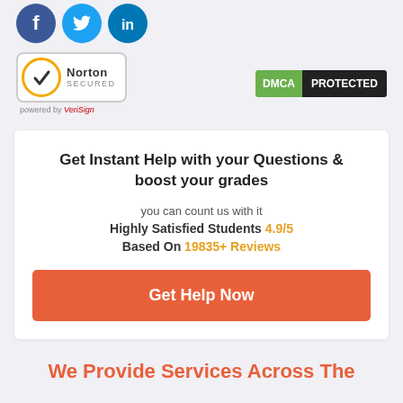[Figure (illustration): Social media icons: Facebook (blue circle with F), Twitter (light blue circle with bird), LinkedIn (dark blue circle with in)]
[Figure (logo): Norton Secured badge with yellow circle and checkmark, powered by VeriSign]
[Figure (logo): DMCA Protected badge - green DMCA label with dark PROTECTED label]
Get Instant Help with your Questions & boost your grades
you can count us with it
Highly Satisfied Students 4.9/5
Based On 19835+ Reviews
Get Help Now
We Provide Services Across The